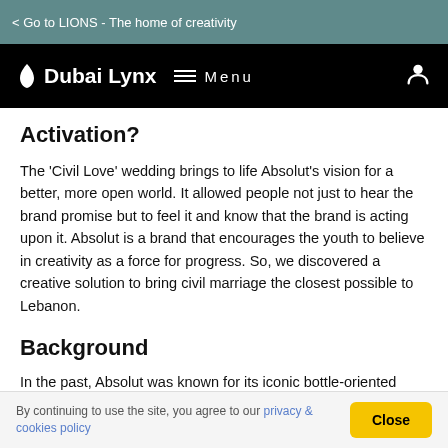Go to LIONS - The home of creativity
Dubai Lynx  Menu
Activation?
The 'Civil Love' wedding brings to life Absolut's vision for a better, more open world. It allowed people not just to hear the brand promise but to feel it and know that the brand is acting upon it. Absolut is a brand that encourages the youth to believe in creativity as a force for progress. So, we discovered a creative solution to bring civil marriage the closest possible to Lebanon.
Background
In the past, Absolut was known for its iconic bottle-oriented communication. However, the brand later began following the category codes of emphasizing party culture and
By continuing to use the site, you agree to our privacy & cookies policy